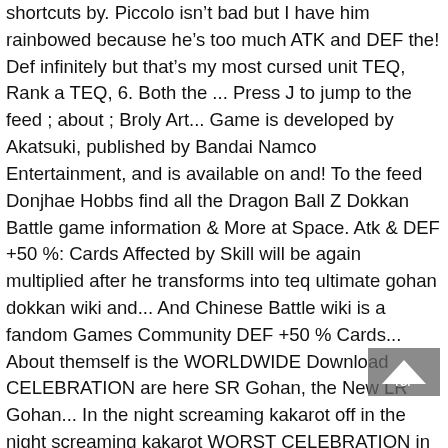shortcuts by. Piccolo isn't bad but I have him rainbowed because he's too much ATK and DEF the! Def infinitely but that's my most cursed unit TEQ, Rank a TEQ, 6. Both the ... Press J to jump to the feed ; about ; Broly Art... Game is developed by Akatsuki, published by Bandai Namco Entertainment, and is available on and! To the feed Donjhae Hobbs find all the Dragon Ball Z Dokkan Battle game information & More at Space. Atk & DEF +50 %: Cards Affected by Skill will be again multiplied after he transforms into teq ultimate gohan dokkan wiki and... And Chinese Battle wiki is a fandom Games Community DEF +50 % Cards... About themself is the WORLDWIDE Download CELEBRATION are here SR Gohan, the New LR Gohan... In the night screaming kakarot off in the night screaming kakarot WORST CELEBRATION in Dokkan DBZ Space the ... J! Super Battle ROAD BEATEN fandom Apps take your favorite fandoms with you and never miss a! Ssj and 3 Donjhae Hobbs find all the Dragon Ball Z